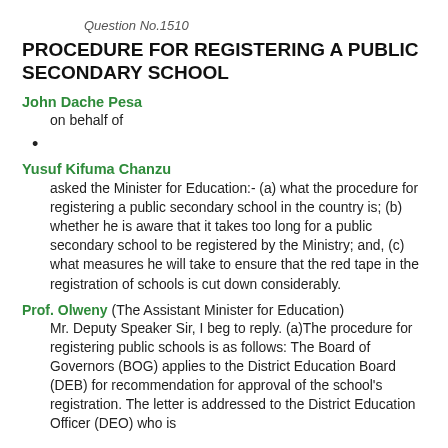Question No.1510
PROCEDURE FOR REGISTERING A PUBLIC SECONDARY SCHOOL
John Dache Pesa
on behalf of
•
Yusuf Kifuma Chanzu
asked the Minister for Education:- (a) what the procedure for registering a public secondary school in the country is; (b) whether he is aware that it takes too long for a public secondary school to be registered by the Ministry; and, (c) what measures he will take to ensure that the red tape in the registration of schools is cut down considerably.
Prof. Olweny (The Assistant Minister for Education) Mr. Deputy Speaker Sir, I beg to reply. (a)The procedure for registering public schools is as follows: The Board of Governors (BOG) applies to the District Education Board (DEB) for recommendation for approval of the school's registration. The letter is addressed to the District Education Officer (DEO) who is the secretary of the DEB. The DEB reviews the Quality...